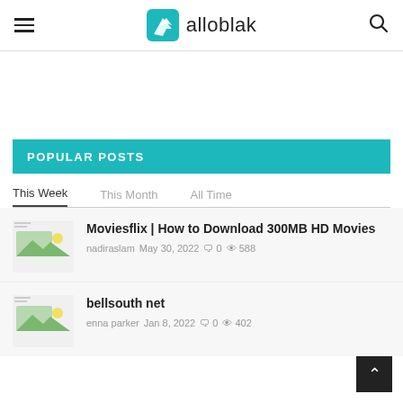alloblak
POPULAR POSTS
This Week   This Month   All Time
[Figure (illustration): Thumbnail image placeholder for Moviesflix post]
Moviesflix | How to Download 300MB HD Movies
nadiraslam  May 30, 2022  0  588
[Figure (illustration): Thumbnail image placeholder for bellsouth net post]
bellsouth net
enna parker  Jan 8, 2022  0  402